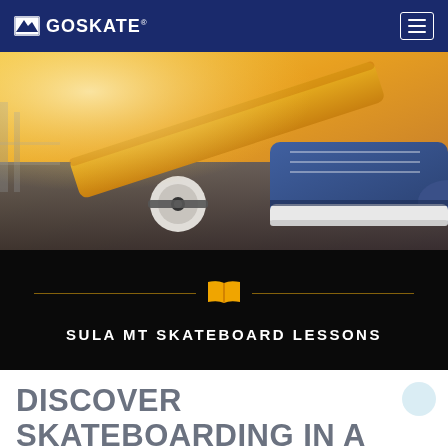GOSKATE
[Figure (photo): Close-up photo of a skateboard with yellow deck and white wheel on pavement, with a sneaker/shoe visible on top of the board. Warm sunlit background with skate park ramp visible.]
SULA MT SKATEBOARD LESSONS
DISCOVER SKATEBOARDING IN A TWO WEEK-LONG LESSON